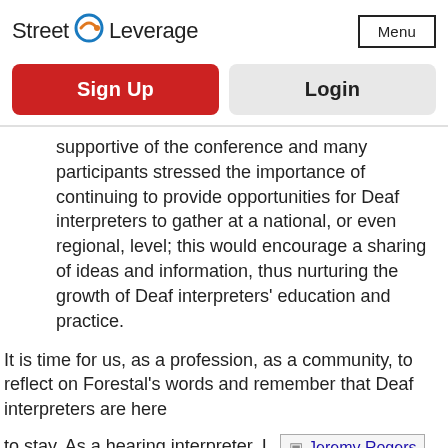Street Leverage | Menu
Sign Up
Login
supportive of the conference and many participants stressed the importance of continuing to provide opportunities for Deaf interpreters to gather at a national, or even regional, level; this would encourage a sharing of ideas and information, thus nurturing the growth of Deaf interpreters' education and practice.
It is time for us, as a profession, as a community, to reflect on Forestal's words and remember that Deaf interpreters are here
to stay. As a hearing interpreter, I
[Figure (photo): Jeremy Rogers image placeholder with link text]